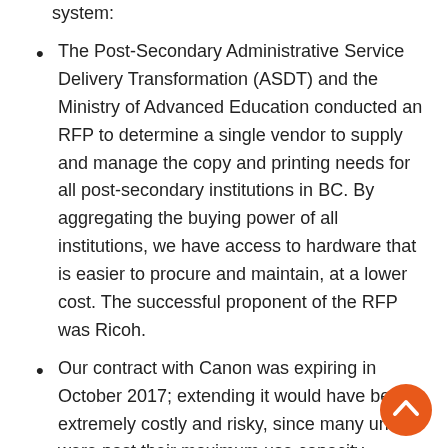system:
The Post-Secondary Administrative Service Delivery Transformation (ASDT) and the Ministry of Advanced Education conducted an RFP to determine a single vendor to supply and manage the copy and printing needs for all post-secondary institutions in BC. By aggregating the buying power of all institutions, we have access to hardware that is easier to procure and maintain, at a lower cost. The successful proponent of the RFP was Ricoh.
Our contract with Canon was expiring in October 2017; extending it would have been extremely costly and risky, since many units were past their maximum use capacity. Therefore the decision was made to implement Ricoh as the solution during the Fall 2017 term.